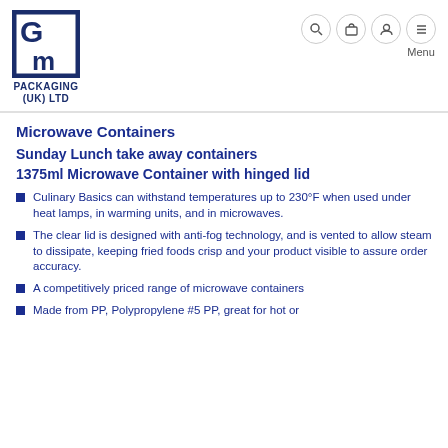[Figure (logo): GM Packaging (UK) Ltd logo — dark blue square with stylized G and M letters, with text PACKAGING (UK) LTD below]
Microwave Containers
Sunday Lunch take away containers
1375ml Microwave Container with hinged lid
Culinary Basics can withstand temperatures up to 230°F when used under heat lamps, in warming units, and in microwaves.
The clear lid is designed with anti-fog technology, and is vented to allow steam to dissipate, keeping fried foods crisp and your product visible to assure order accuracy.
A competitively priced range of microwave containers
Made from PP, Polypropylene #5 PP, great for hot or…